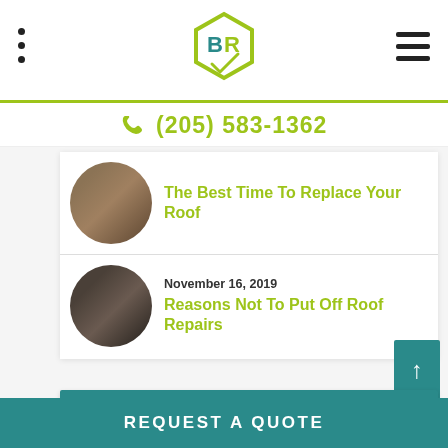BR Roofing logo, navigation dots, hamburger menu
(205) 583-1362
[Figure (photo): Circular thumbnail of roof tiles/shingles]
The Best Time To Replace Your Roof
[Figure (photo): Circular thumbnail of person doing roof repair]
November 16, 2019
Reasons Not To Put Off Roof Repairs
CATEGORY
ARCHIVES
REQUEST A QUOTE